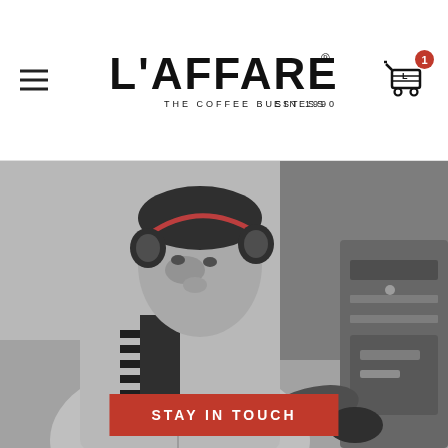L'AFFARE THE COFFEE BUSINESS EST. 1990
[Figure (photo): Black and white photograph of a man wearing ear protection (orange/black earmuffs) and working near an industrial coffee roasting machine. He is wearing a striped shirt under a light jacket.]
STAY IN TOUCH